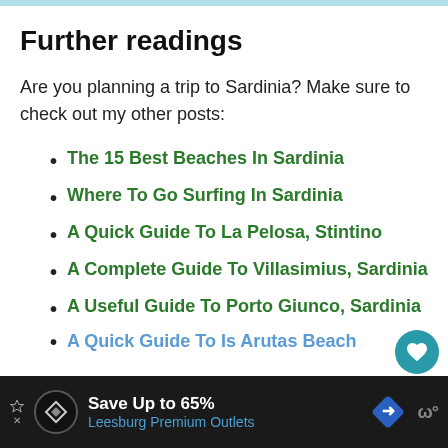Further readings
Are you planning a trip to Sardinia? Make sure to check out my other posts:
The 15 Best Beaches In Sardinia
Where To Go Surfing In Sardinia
A Quick Guide To La Pelosa, Stintino
A Complete Guide To Villasimius, Sardinia
A Useful Guide To Porto Giunco, Sardinia
A Quick Guide To Is Arutas Beach
Save Up to 65% Leesburg Premium Outlets